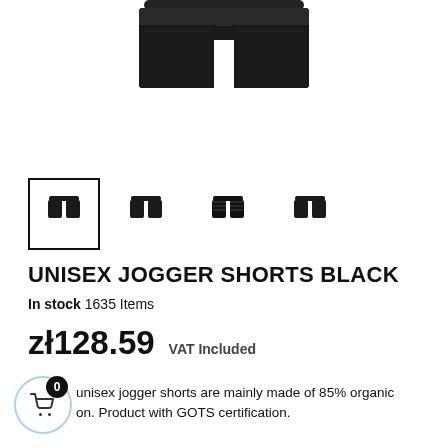[Figure (photo): Main product photo: dark/black unisex jogger shorts on white background, cropped view showing waistband and shorts]
[Figure (photo): Row of 4 thumbnail images of the black jogger shorts from various angles; first thumbnail has a black border indicating it is selected]
UNISEX JOGGER SHORTS BLACK
In stock 1635 Items
zł128.59  VAT Included
unisex jogger shorts are mainly made of 85% organic on. Product with GOTS certification.